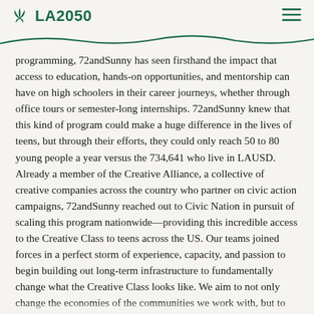LA2050
programming, 72andSunny has seen firsthand the impact that access to education, hands-on opportunities, and mentorship can have on high schoolers in their career journeys, whether through office tours or semester-long internships. 72andSunny knew that this kind of program could make a huge difference in the lives of teens, but through their efforts, they could only reach 50 to 80 young people a year versus the 734,641 who live in LAUSD. Already a member of the Creative Alliance, a collective of creative companies across the country who partner on civic action campaigns, 72andSunny reached out to Civic Nation in pursuit of scaling this program nationwide—providing this incredible access to the Creative Class to teens across the US. Our teams joined forces in a perfect storm of experience, capacity, and passion to begin building out long-term infrastructure to fundamentally change what the Creative Class looks like. We aim to not only change the economies of the communities we work with, but to bring about a more inclusive and diversified Creative Class for a more just society. While this is just the